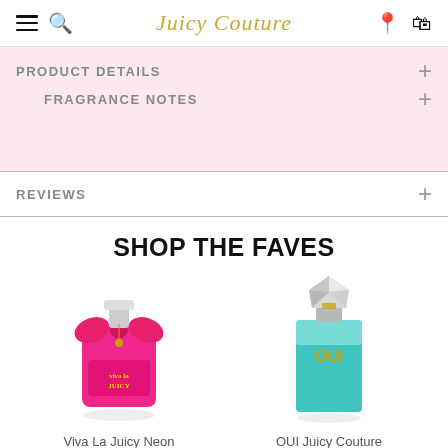Juicy Couture
PRODUCT DETAILS
FRAGRANCE NOTES
REVIEWS
SHOP THE FAVES
[Figure (photo): Viva La Juicy Neon perfume bottle — hot pink bottle with large pink bow and silver cap]
[Figure (photo): OUI Juicy Couture perfume bottle — teal/turquoise rectangular bottle with large faceted crystal cap]
Viva La Juicy Neon
Eau De Parfum Sp...
OUI Juicy Couture
Glad Eau De Par...